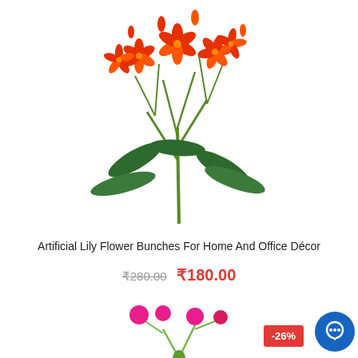[Figure (photo): Artificial red lily flower bunch with green leaves and stems on white background]
Artificial Lily Flower Bunches For Home And Office Décor
₹280.00  ₹180.00
[Figure (photo): Pink artificial berry/flower stems on white background, partially visible]
-26%